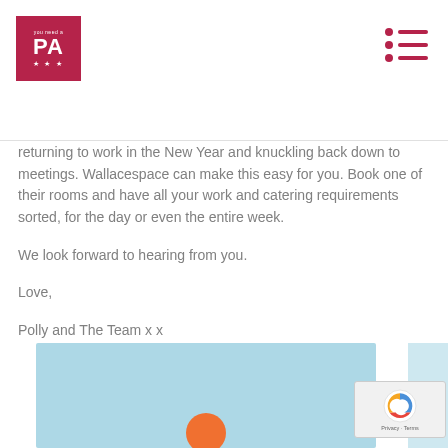You Need a PA
returning to work in the New Year and knuckling back down to meetings. Wallacespace can make this easy for you. Book one of their rooms and have all your work and catering requirements sorted, for the day or even the entire week.
We look forward to hearing from you.
Love,
Polly and The Team x x
[Figure (illustration): Light blue illustration with an orange circle element partially visible at the bottom, with a lighter blue vertical bar on the right side]